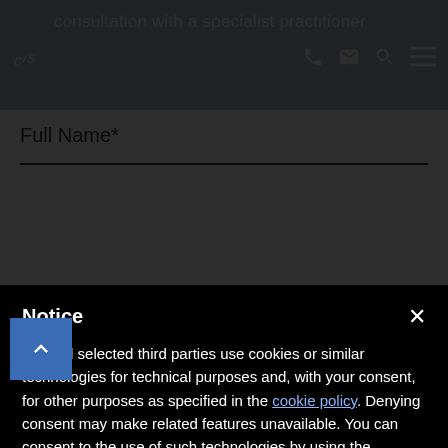consultation with a specialist practitioner
Full Name*
Notice
We and selected third parties use cookies or similar technologies for technical purposes and, with your consent, for other purposes as specified in the cookie policy. Denying consent may make related features unavailable. You can consent to the use of such technologies by using the “Accept” button or by closing this notice.
Accept
Learn more and customise